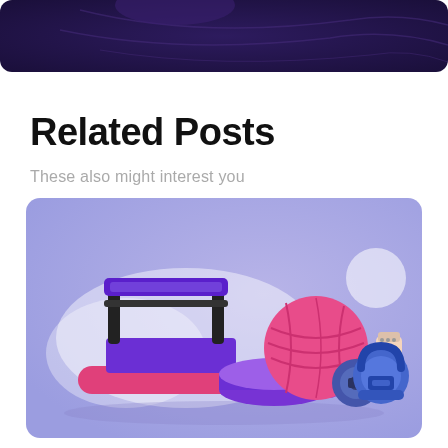[Figure (illustration): Partial view of a dark purple/navy banner image at the top of the page, cropped]
Related Posts
These also might interest you
[Figure (illustration): Illustration of gym/fitness equipment on a light purple background: a treadmill, a yoga mat rolled up, a pink exercise ball, a barbell plate, a water bottle, and a blue kettlebell]